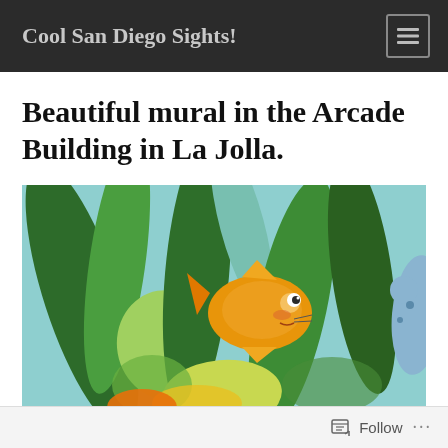Cool San Diego Sights!
Beautiful mural in the Arcade Building in La Jolla.
[Figure (illustration): Close-up photograph of a colorful mural showing an orange fish surrounded by large green and teal seaweed/kelp leaves on a light blue background. The fish has a cartoon-like face with a visible eye.]
Follow